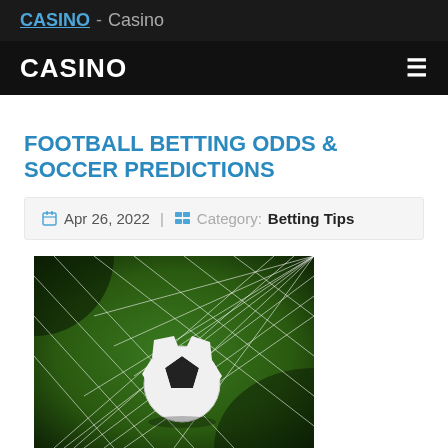CASINO - Casino
CASINO
FOOTBALL BETTING ODDS & SOCCER PREDICTIONS
Apr 26, 2022 | Category: Betting Tips
[Figure (photo): A soccer ball hitting the net of a goal, captured close-up with green grass field background]